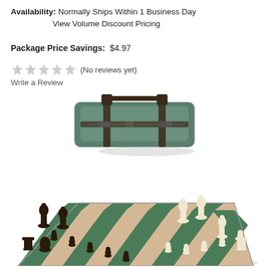Availability: Normally Ships Within 1 Business Day
View Volume Discount Pricing
Package Price Savings: $4.97
(No reviews yet)
Write a Review
[Figure (photo): Green carry bag with dark brown handle straps and zipper, for chess set storage]
[Figure (photo): Chess set with green and tan vinyl board, dark brown and ivory plastic chess pieces arranged in starting position, shown at an angle]